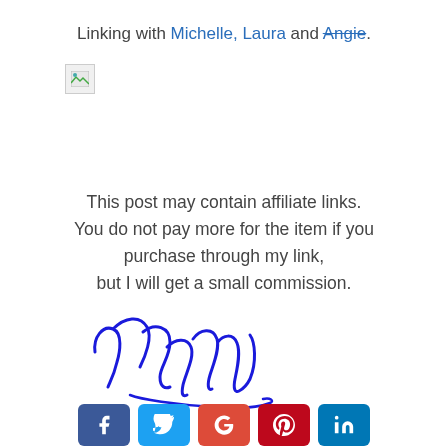Linking with Michelle, Laura and Angie.
[Figure (other): Broken/missing image placeholder icon]
This post may contain affiliate links. You do not pay more for the item if you purchase through my link, but I will get a small commission.
[Figure (illustration): Handwritten cursive signature reading 'Mary' in blue ink]
[Figure (infographic): Row of social media icon buttons: Facebook (blue), Twitter (cyan), Google+ (red-orange), Pinterest (dark red), LinkedIn (blue)]